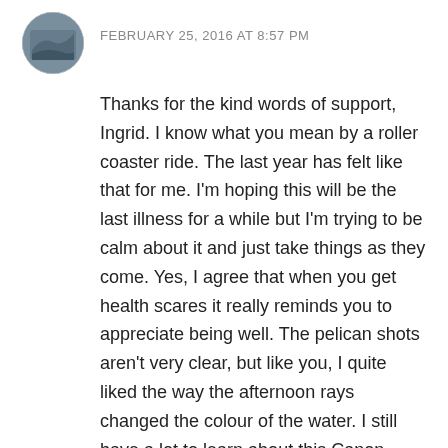[Figure (photo): Circular avatar photo showing a person or scene outdoors]
FEBRUARY 25, 2016 AT 8:57 PM
Thanks for the kind words of support, Ingrid. I know what you mean by a roller coaster ride. The last year has felt like that for me. I'm hoping this will be the last illness for a while but I'm trying to be calm about it and just take things as they come. Yes, I agree that when you get health scares it really reminds you to appreciate being well. The pelican shots aren't very clear, but like you, I quite liked the way the afternoon rays changed the colour of the water. I still have a lot to learn about this Canon. Have a lovely week. 🙂